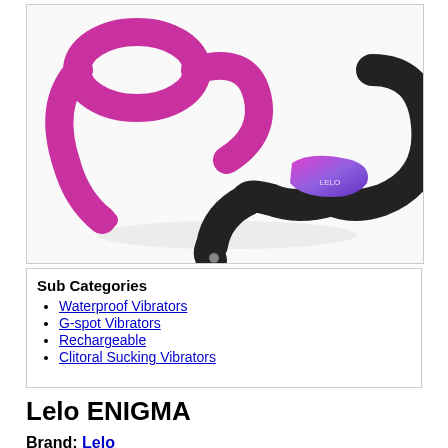[Figure (photo): Two LELO ENIGMA vibrators shown together — one in magenta/purple silicone and one in black silicone with a purple-pink gradient metallic insert, curved C-shaped/G-spot style design with a small circular charging port visible.]
Sub Categories
Waterproof Vibrators
G-spot Vibrators
Rechargeable
Clitoral Sucking Vibrators
Lelo ENIGMA
Brand: Lelo